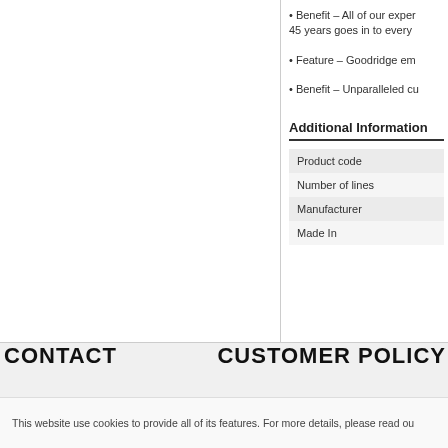• Benefit – All of our exper... 45 years goes in to every ...
• Feature – Goodridge em...
• Benefit – Unparalleled cu...
Additional Information
| Product code |
| Number of lines |
| Manufacturer |
| Made In |
CONTACT   CUSTOMER POLICY
This website use cookies to provide all of its features. For more details, please read ou...